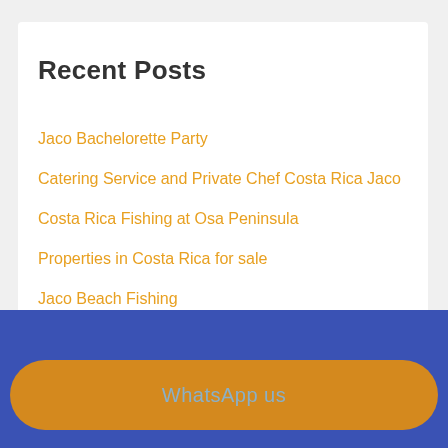Recent Posts
Jaco Bachelorette Party
Catering Service and Private Chef Costa Rica Jaco
Costa Rica Fishing at Osa Peninsula
Properties in Costa Rica for sale
Jaco Beach Fishing
WhatsApp us